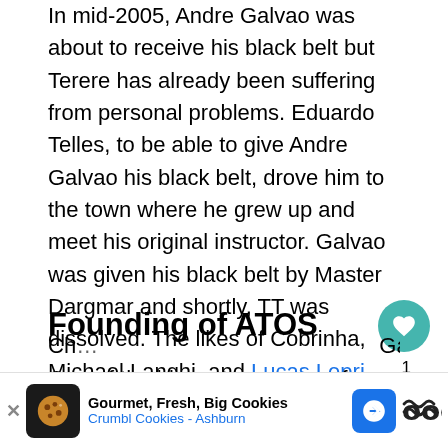In mid-2005, Andre Galvao was about to receive his black belt but Terere has already been suffering from personal problems. Eduardo Telles, to be able to give Andre Galvao his black belt, drove him to the town where he grew up and meet his original instructor. Galvao was given his black belt by Master Dargmar and shortly, TT was dissolved. The likes of Cobrinha, Michael Langhi, and Lucas Lepri joined Alliance while Andre Galvao went to join Brasa where met Ramon Lemos.
Founding of ATOS
One of the biggest concerns of those who left Brasa was that there wasn't a true leader in the team. Vieira brothers eventually left and formed C... Galvao
[Figure (other): Advertisement banner for Crumbl Cookies - Ashburn with cookie icon, navigation arrow icon, and brand logo]